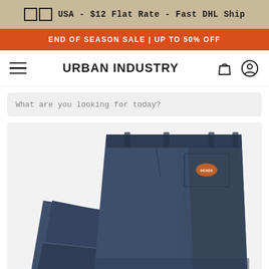USA - $12 Flat Rate - Fast DHL Ship
END OF SEASON SALE | UP TO 50% OFF
URBAN INDUSTRY
What are you looking for today?
[Figure (photo): Folded navy blue Dickies work trousers displayed on a white background, showing the back pocket with Dickies logo patch and belt loops.]